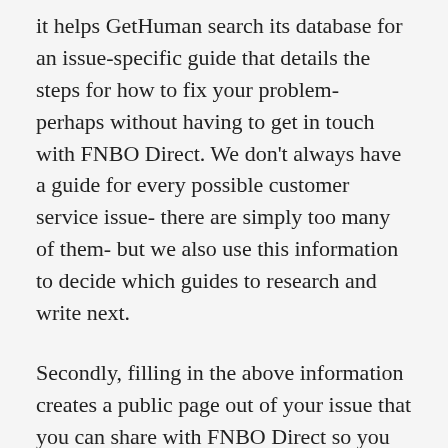it helps GetHuman search its database for an issue-specific guide that details the steps for how to fix your problem- perhaps without having to get in touch with FNBO Direct. We don't always have a guide for every possible customer service issue- there are simply too many of them- but we also use this information to decide which guides to research and write next.
Secondly, filling in the above information creates a public page out of your issue that you can share with FNBO Direct so you do not have to keep re-typing your problem when you reach out. You can also share with other customers to solicit help from them. When you resolve the issue, you can share with other customers how you resolve it. The next customer that comes along may see this and resolve their own problem faster thanks to you. You can use the links sent to your email address to edit or delete the public page created through this process at any time.